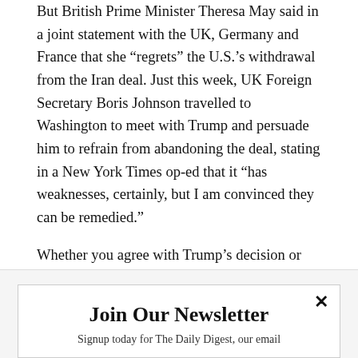But British Prime Minister Theresa May said in a joint statement with the UK, Germany and France that she "regrets" the U.S.'s withdrawal from the Iran deal. Just this week, UK Foreign Secretary Boris Johnson travelled to Washington to meet with Trump and persuade him to refrain from abandoning the deal, stating in a New York Times op-ed that it "has weaknesses, certainly, but I am convinced they can be remedied."
Whether you agree with Trump's decision or not, it is certain that the concern of Iran's nuclear program must be addressed, as its impacts are far-reaching. The U.S. and its allies must work together to curb Iran's nuclear capabilities to diminish the threat it poses to neighboring countries and to the rest of the world.
Join Our Newsletter
Signup today for The Daily Digest, our email